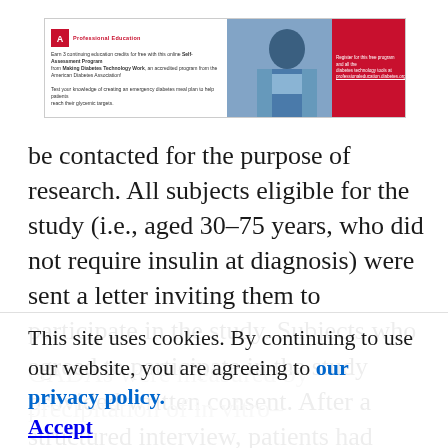[Figure (other): American Diabetes Association advertisement banner showing a healthcare professional, with text about Self-Assessment Program for Making Diabetes Technology Work and Inpatient Diabetes Management.]
be contacted for the purpose of research. All subjects eligible for the study (i.e., aged 30–75 years, who did not require insulin at diagnosis) were sent a letter inviting them to participate in the study. Subjects who agreed to participate in the study provided written consent. After a structured interview, patients had blood taken to determine GADAs. The study was approved by the Royal Melbourne Hospital Clinical Research and Ethics Committee.
This site uses cookies. By continuing to use our website, you are agreeing to our privacy policy. Accept
GADAs were measured by precipitation of in vitro–